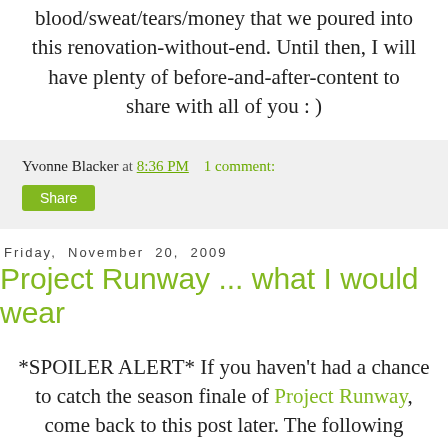blood/sweat/tears/money that we poured into this renovation-without-end. Until then, I will have plenty of before-and-after-content to share with all of you : )
Yvonne Blacker at 8:36 PM    1 comment:
Share
Friday, November 20, 2009
Project Runway ... what I would wear
*SPOILER ALERT* If you haven't had a chance to catch the season finale of Project Runway, come back to this post later. The following images were taken while watching